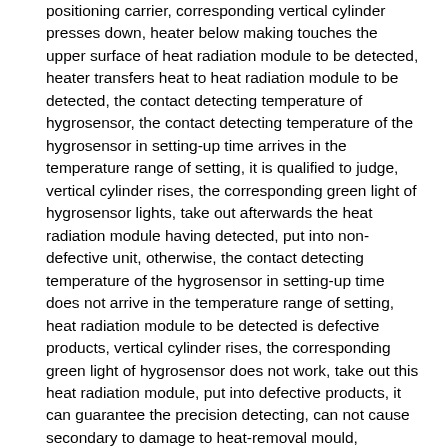positioning carrier, corresponding vertical cylinder presses down, heater below making touches the upper surface of heat radiation module to be detected, heater transfers heat to heat radiation module to be detected, the contact detecting temperature of hygrosensor, the contact detecting temperature of the hygrosensor in setting-up time arrives in the temperature range of setting, it is qualified to judge, vertical cylinder rises, the corresponding green light of hygrosensor lights, take out afterwards the heat radiation module having detected, put into non-defective unit, otherwise, the contact detecting temperature of the hygrosensor in setting-up time does not arrive in the temperature range of setting, heat radiation module to be detected is defective products, vertical cylinder rises, the corresponding green light of hygrosensor does not work, take out this heat radiation module, put into defective products, it can guarantee the precision detecting, can not cause secondary to damage to heat-removal mould, guarantee the quality of finished product, and can be placed with in turn at least two described Bracket for Inspections on a work top, described in each, in Bracket for Inspection, be arranged with respectively in turn at least two described positioning